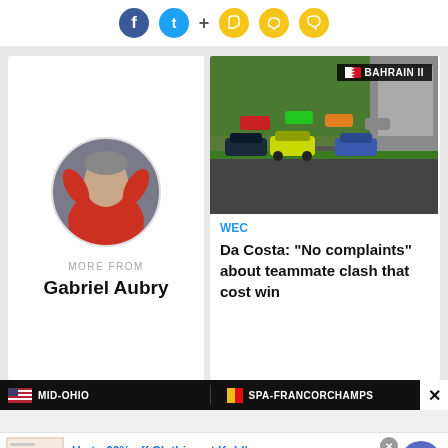[Figure (infographic): Social media share icons: Facebook (blue circle), Twitter (cyan circle), plus sign, bookmark icon (yellow), Snapchat ghost (yellow), comment bubble (yellow)]
[Figure (photo): Circular profile photo of Gabriel Aubry with red jacket, hands near head]
MORE FROM
Gabriel Aubry
[Figure (photo): BAHRAIN II race photo showing multiple prototype racing cars on track including LMP cars and GT cars]
WEC
Da Costa: "No complaints" about teammate clash that cost win
MID-OHIO
SPA-FRANCORCHAMPS
[Figure (infographic): Advertisement banner: Up to 60% off Clothing at Kohl's. Save up to 60% on clothing and homeware at Kohl's.com. kohls.com]